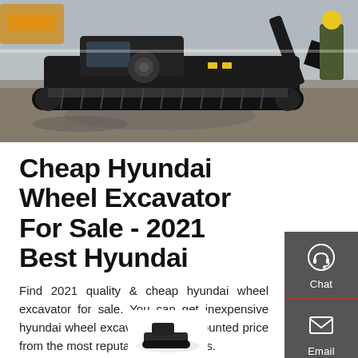[Figure (photo): Photo of a black Hyundai mini excavator on wet ground at a construction site, with a worker in yellow vest partially visible on the right]
Cheap Hyundai Wheel Excavator For Sale - 2021 Best Hyundai
Find 2021 quality & cheap hyundai wheel excavator for sale. You can get inexpensive hyundai wheel excavator with discounted price from the most reputable wholesalers.
Get a Quote
[Figure (illustration): Small partial image of a Hyundai excavator product at the bottom center of the page]